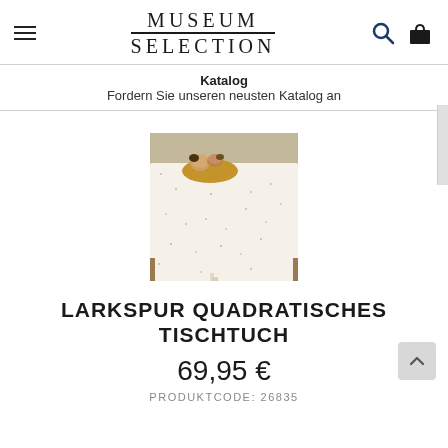MUSEUM SELECTION
Katalog
Fordern Sie unseren neusten Katalog an
[Figure (photo): Product photo of a floral tablecloth on a table with bread and other food items on top.]
LARKSPUR QUADRATISCHES TISCHTUCH
69,95 €
PRODUKTCODE: 26835